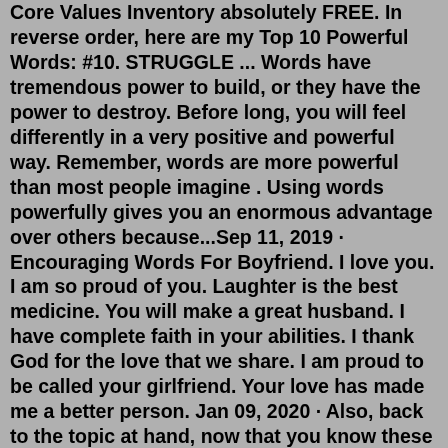Core Values Inventory absolutely FREE. In reverse order, here are my Top 10 Powerful Words: #10. STRUGGLE ... Words have tremendous power to build, or they have the power to destroy. Before long, you will feel differently in a very positive and powerful way. Remember, words are more powerful than most people imagine . Using words powerfully gives you an enormous advantage over others because...Sep 11, 2019 · Encouraging Words For Boyfriend. I love you. I am so proud of you. Laughter is the best medicine. You will make a great husband. I have complete faith in your abilities. I thank God for the love that we share. I am proud to be called your girlfriend. Your love has made me a better person. Jan 09, 2020 · Also, back to the topic at hand, now that you know these 10 powerful words, it's equally as important to know how to use it and your intentions are important. a. Pique the reader's curiosity. There's an adorable comment from Reddit that has gone viral talking about the Mars Curiosity rover, talking about